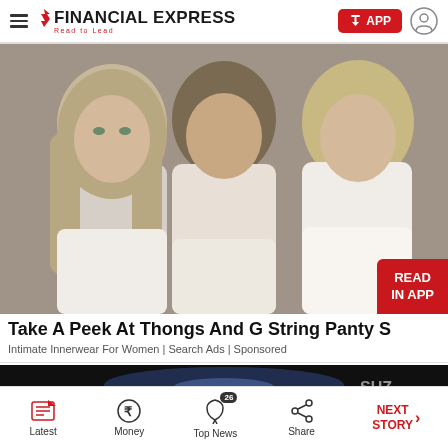FINANCIAL EXPRESS – Read to Lead
[Figure (photo): Three young women with long blonde/brown hair in white lace outfits posed together against a gray background]
Take A Peek At Thongs And G String Panty S
Intimate Innerwear For Women | Search Ads | Sponsored
[Figure (photo): Partial view of a dark advertisement strip with a car brand logo visible]
Latest | Money | Top News 26 | Share | NEXT STORY